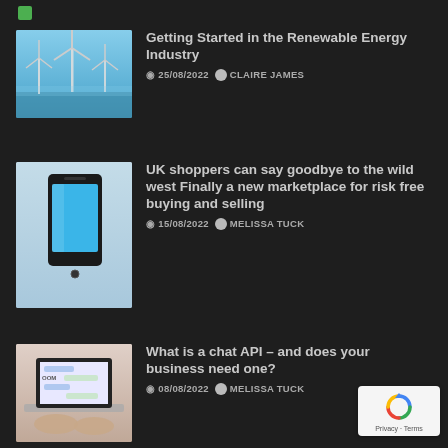[Figure (photo): Green indicator dot/bar in top left corner]
[Figure (photo): Offshore wind turbines in the sea against a blue sky]
Getting Started in the Renewable Energy Industry
25/08/2022  CLAIRE JAMES
[Figure (photo): A smartphone with a blue screen standing upright against a light blue background]
UK shoppers can say goodbye to the wild west Finally a new marketplace for risk free buying and selling
15/08/2022  MELISSA TUCK
[Figure (photo): Person typing on a laptop with a chat/messaging interface visible on screen]
What is a chat API – and does your business need one?
08/08/2022  MELISSA TUCK